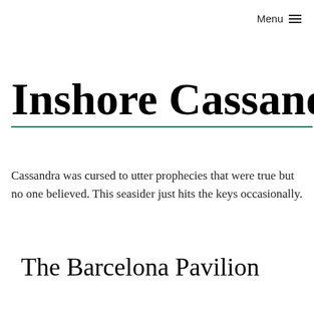Menu ≡
Inshore Cassandra
Cassandra was cursed to utter prophecies that were true but no one believed. This seasider just hits the keys occasionally.
The Barcelona Pavilion